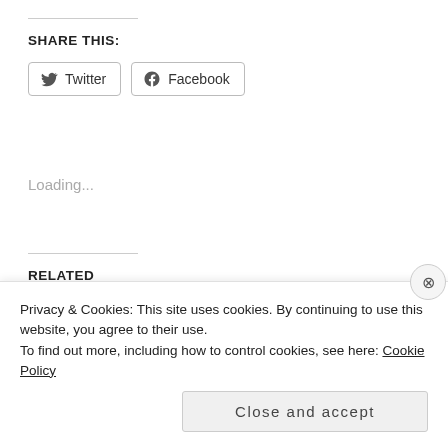SHARE THIS:
Twitter  Facebook
Loading...
RELATED
F    To Have and Have Not
Privacy & Cookies: This site uses cookies. By continuing to use this website, you agree to their use.
To find out more, including how to control cookies, see here: Cookie Policy
Close and accept